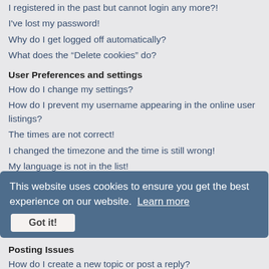I registered in the past but cannot login any more?!
I've lost my password!
Why do I get logged off automatically?
What does the “Delete cookies” do?
User Preferences and settings
How do I change my settings?
How do I prevent my username appearing in the online user listings?
The times are not correct!
I changed the timezone and the time is still wrong!
My language is not in the list!
What are the images next to my username?
How do I display an avatar?
What is my rank and how do I change it?
When I click the email link for a user it asks me to login?
Posting Issues
How do I create a new topic or post a reply?
How do I edit or delete a post?
How do I add a signature to my post?
How do I create a poll?
This website uses cookies to ensure you get the best experience on our website. Learn more